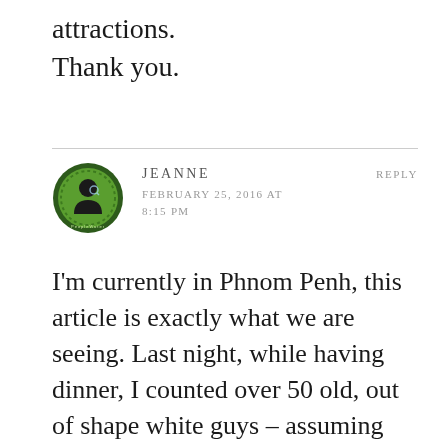attractions.
Thank you.
JEANNE
FEBRUARY 25, 2016 AT 8:15 PM
REPLY
I'm currently in Phnom Penh, this article is exactly what we are seeing. Last night, while having dinner, I counted over 50 old, out of shape white guys – assuming 50% of these were there to hire sex, the